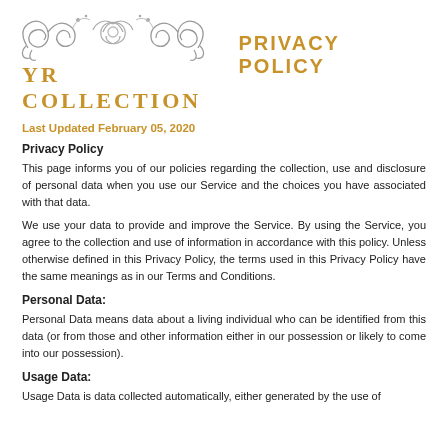[Figure (illustration): Decorative ornamental swirl/flourish logo above YR COLLECTION brand name]
PRIVACY POLICY
Last Updated February 05, 2020
Privacy Policy
This page informs you of our policies regarding the collection, use and disclosure of personal data when you use our Service and the choices you have associated with that data.
We use your data to provide and improve the Service. By using the Service, you agree to the collection and use of information in accordance with this policy. Unless otherwise defined in this Privacy Policy, the terms used in this Privacy Policy have the same meanings as in our Terms and Conditions.
Personal Data:
Personal Data means data about a living individual who can be identified from this data (or from those and other information either in our possession or likely to come into our possession).
Usage Data:
Usage Data is data collected automatically, either generated by the use of